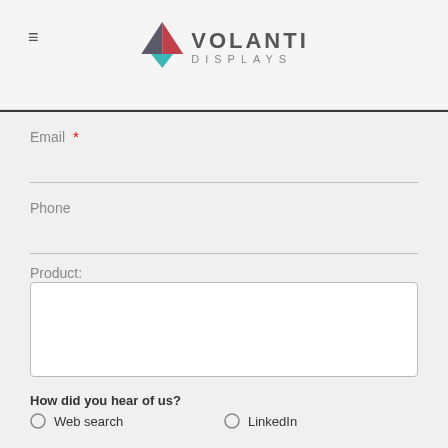[Figure (logo): Volanti Displays logo — triangle icon (dark upper-left, red upper-right, teal lower) with VOLANTI in bold gray and DISPLAYS in light gray below]
Email  *
Phone
Product:
How did you hear of us?
Web search
LinkedIn